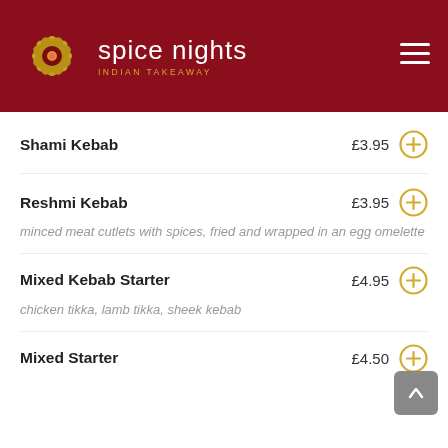spice nights INDIAN TAKEAWAY
Shami Kebab £3.95
Reshmi Kebab £3.95 — minced meat cutlets with spices, fried and wrapped in an egg omelette
Mixed Kebab Starter £4.95 — chicken tikka, lamb tikka, sheek kebab
Mixed Starter £4.50